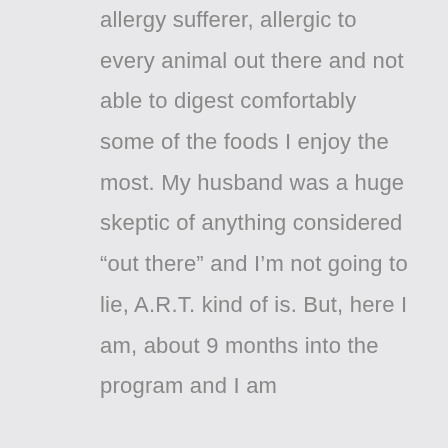allergy sufferer, allergic to every animal out there and not able to digest comfortably some of the foods I enjoy the most. My husband was a huge skeptic of anything considered “out there” and I’m not going to lie, A.R.T. kind of is. But, here I am, about 9 months into the program and I am